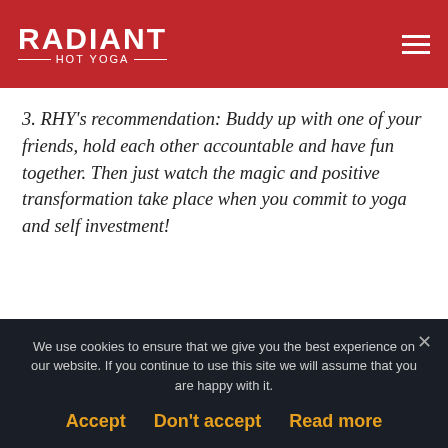RADIANT HOT YOGA
3. RHY's recommendation: Buddy up with one of your friends, hold each other accountable and have fun together. Then just watch the magic and positive transformation take place when you commit to yoga and self investment!
A few of the great benefits of
We use cookies to ensure that we give you the best experience on our website. If you continue to use this site we will assume that you are happy with it.
Accept   Don't accept   Read more